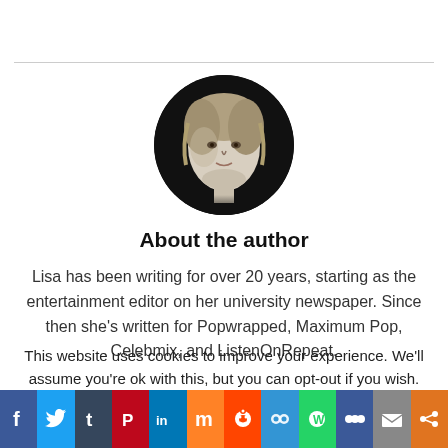[Figure (photo): Black and white circular portrait photo of Lisa, a woman with blonde/light hair]
About the author
Lisa has been writing for over 20 years, starting as the entertainment editor on her university newspaper. Since then she's written for Popwrapped, Maximum Pop, Celebmix, and ListenOnRepeat.
This website uses cookies to improve your experience. We'll assume you're ok with this, but you can opt-out if you wish.
[Figure (infographic): Social sharing bar at the bottom with icons: Facebook (f), Twitter (bird), Tumblr (t), Pinterest (P), LinkedIn (in), Mix (m), Reddit (alien), Bitly/bookmark, WhatsApp, Myspace dots, Mail, Share]